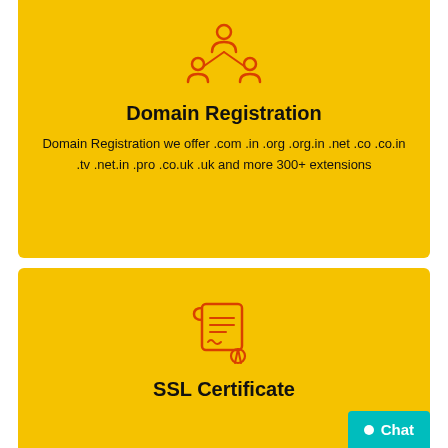[Figure (illustration): Red outline icon of group/network of three people (domain registration icon) on yellow background]
Domain Registration
Domain Registration we offer .com .in .org .org.in .net .co .co.in .tv .net.in .pro .co.uk .uk and more 300+ extensions
[Figure (illustration): Red outline icon of a certificate/scroll with a seal (SSL certificate icon) on yellow background]
SSL Certificate